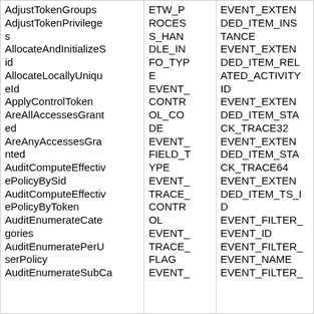| AdjustTokenGroups
AdjustTokenPrivileges
AllocateAndInitializeSid
AllocateLocallyUniqueId
ApplyControlToken
AreAllAccessesGranted
AreAnyAccessesGranted
AuditComputeEffectivePolicyBySid
AuditComputeEffectivePolicyByToken
AuditEnumerateCategories
AuditEnumeratePerUserPolicy
AuditEnumerateSubCategories | ETW_PROCESS_HANDLE_INFO_TYPE
EVENT_CONTROL_CODE
EVENT_FIELD_TYPE
EVENT_TRACE_CONTROL
EVENT_TRACE_FLAG
EVENT_ | EVENT_EXTENDED_ITEM_INSTANCE
EVENT_EXTENDED_ITEM_RELATED_ACTIVITY_ID
EVENT_EXTENDED_ITEM_STACK_TRACE32
EVENT_EXTENDED_ITEM_STACK_TRACE64
EVENT_EXTENDED_ITEM_TS_ID
EVENT_FILTER_EVENT_ID
EVENT_FILTER_EVENT_NAME
EVENT_FILTER_ |